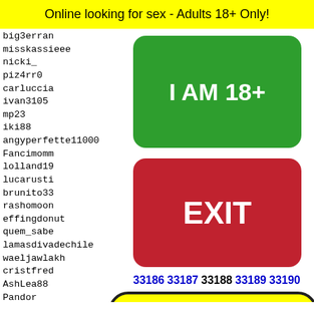Online looking for sex - Adults 18+ Only!
big3erran
misskassieee
nicki_
piz4rr0
carluccia
ivan3105
mp23
iki88
angyperfette11000
Fancimomm
lolland19
lucarusti
brunito33
rashomoon
effingdonut
quem_sabe
lamasdivadechile
waeljawlakh
cristfred
AshLea88
Pandor
Sweeth
mkarla
grantk
helend
cinnam
[Figure (other): Green button labeled I AM 18+]
[Figure (other): Red button labeled EXIT]
33186 33187 33188 33189 33190
[Figure (illustration): Snapchat ghost emoji on yellow background with black dot pattern border]